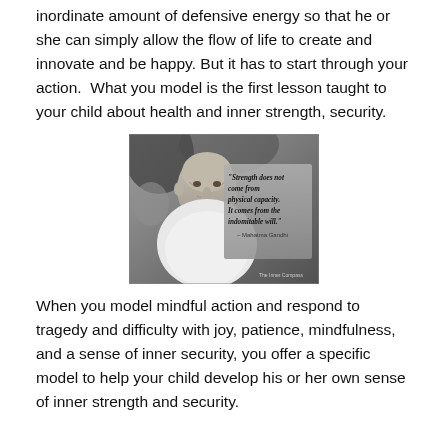inordinate amount of defensive energy so that he or she can simply allow the flow of life to create and innovate and be happy. But it has to start through your action. What you model is the first lesson taught to your child about health and inner strength, security.
[Figure (photo): Black and white photo of Mahatma Gandhi smiling, with an overlaid quote: 'Strength does not come from physical capacity. It comes from an indomitable will.' – Mahatma Gandhi]
When you model mindful action and respond to tragedy and difficulty with joy, patience, mindfulness, and a sense of inner security, you offer a specific model to help your child develop his or her own sense of inner strength and security.